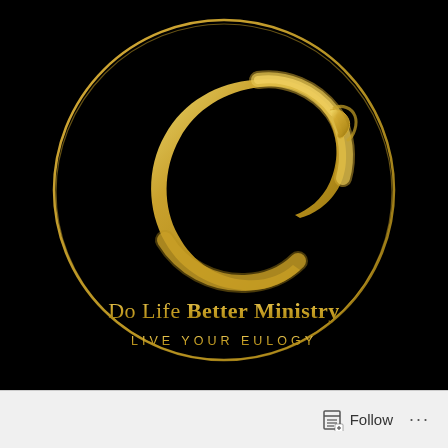[Figure (logo): Do Life Better Ministry logo: black square background with a large golden hand-brush circular stroke, inside a gold ring circle outline. In the center-bottom area: text 'Do Life Better Ministry' in gold (with 'Better Ministry' bold), and below it 'LIVE YOUR EULOGY' in spaced gold capital letters.]
Follow ...